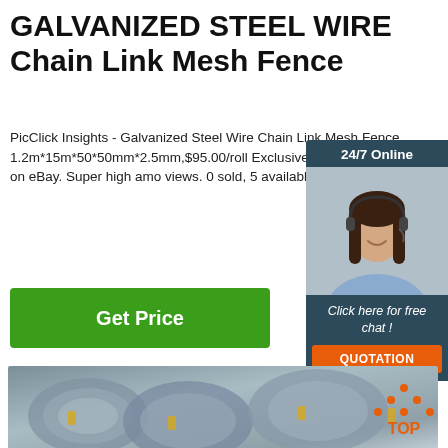GALVANIZED STEEL WIRE Chain Link Mesh Fence
PicClick Insights - Galvanized Steel Wire Chain Link Mesh Fence 1.2m*15m*50*50mm*2.5mm,$95.00/roll Exclusive. Popularity - 2,741 views, 4.8 views a day, 575 days on eBay. Super high amount of views. 0 sold, 5 available.
24/7 Online
[Figure (photo): Customer service representative woman smiling with headset]
Click here for free chat !
QUOTATION
Get Price
[Figure (photo): Rolls of galvanized steel wire bundled with yellow ties]
TOP